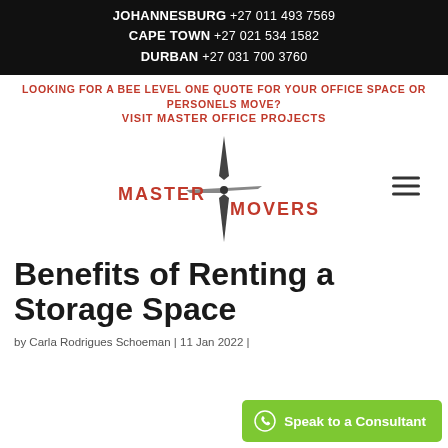JOHANNESBURG +27 011 493 7569
CAPE TOWN +27 021 534 1582
DURBAN +27 031 700 3760
LOOKING FOR A BEE LEVEL ONE QUOTE FOR YOUR OFFICE SPACE OR PERSONELS MOVE?
VISIT MASTER OFFICE PROJECTS
[Figure (logo): Master Movers logo with compass/needle graphic and red text reading MASTER MOVERS]
Benefits of Renting a Storage Space
by Carla Rodrigues Schoeman | 11 Jan 2022 |
Speak to a Consultant